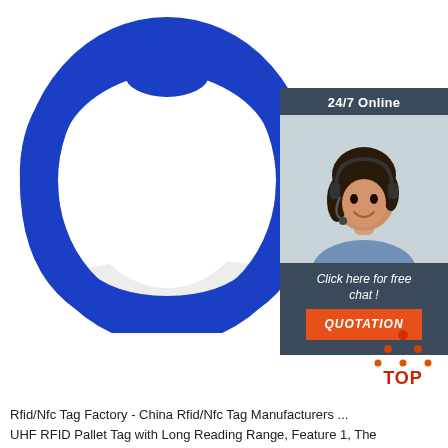[Figure (photo): Blue silicone RFID wristband bracelet, circular band with a raised oval chip area at the top, on a white background]
[Figure (illustration): 24/7 Online customer service chat widget showing a woman with headset, text 'Click here for free chat!' and an orange QUOTATION button]
[Figure (logo): TOP logo with orange dot-triangle icon above the word TOP in red/orange]
Rfid/Nfc Tag Factory - China Rfid/Nfc Tag Manufacturers ...
UHF RFID Pallet Tag with Long Reading Range, Feature 1, The